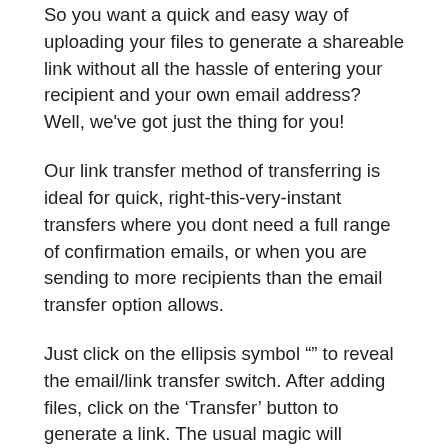So you want a quick and easy way of uploading your files to generate a shareable link without all the hassle of entering your recipient and your own email address? Well, we've got just the thing for you!
Our link transfer method of transferring is ideal for quick, right-this-very-instant transfers where you dont need a full range of confirmation emails, or when you are sending to more recipients than the email transfer option allows.
Just click on the ellipsis symbol "" to reveal the email/link transfer switch. After adding files, click on the 'Transfer' button to generate a link. The usual magic will happen behind the scenes, but once the upload finishes, you'll have a lovely link that you can copy and paste into anywhere you'd like!
The benefits of creating a link transfer range from the